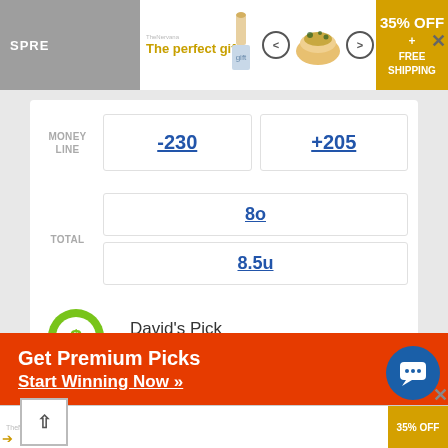[Figure (screenshot): Top banner advertisement for a gift/food delivery service. Shows 'The perfect gift' text in gold on white background with food bowl image, navigation arrows, and '35% OFF + FREE SHIPPING' in gold badge on right. Gray tab bar on far left shows 'SPRE...' text.]
|  | Team 1 | Team 2 |
| --- | --- | --- |
| MONEY LINE | -230 | +205 |
| TOTAL |  |
| --- | --- |
|  | 8o |
|  | 8.5u |
MetaBet
[Figure (infographic): David's Pick section: green magnifying glass with dollar sign icon on left, 'David's Pick' label and 'Twins -1.5' bold text on right]
[Figure (screenshot): Orange CTA banner: 'Get Premium Picks / Start Winning Now »' in white bold text on orange/red background, with blue circular chat button on right]